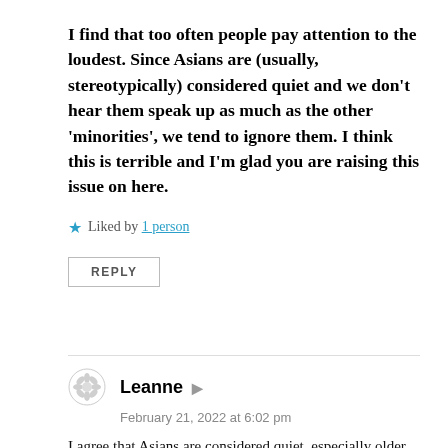I find that too often people pay attention to the loudest. Since Asians are (usually, stereotypically) considered quiet and we don’t hear them speak up as much as the other ‘minorities’, we tend to ignore them. I think this is terrible and I’m glad you are raising this issue on here.
★ Liked by 1 person
REPLY
Leanne
February 21, 2022 at 6:02 pm
I agree that Asians are considered quiet, especially older Asians and immigrants, as they are the most